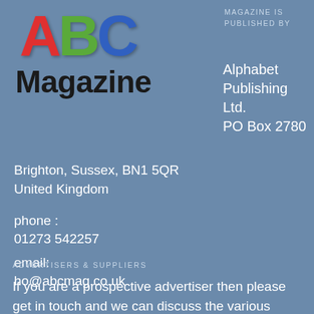[Figure (logo): ABC Magazine logo with colorful A (red), B (green), C (blue) letters and 'Magazine' text in black]
MAGAZINE IS PUBLISHED BY
Alphabet Publishing Ltd.
PO Box 2780
Brighton, Sussex, BN1 5QR
United Kingdom
phone :
01273 542257
email:
ho@abcmag.co.uk
ADVERTISERS & SUPPLIERS
If you are a prospective advertiser then please get in touch and we can discuss the various opportunities available.